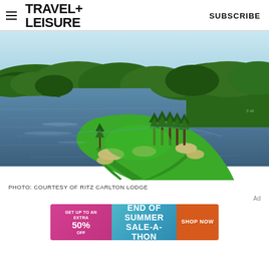TRAVEL+ LEISURE  SUBSCRIBE
[Figure (photo): Aerial view of a golf course peninsula jutting into a large lake, surrounded by dense green forest. The golf course features sand bunkers and manicured fairways with tall pine trees lining the shore.]
PHOTO: COURTESY OF RITZ CARLTON LODGE
[Figure (infographic): Advertisement banner: GET UP TO AN EXTRA 50% OFF | END OF SUMMER SALE-A-THON | SHOP NOW]